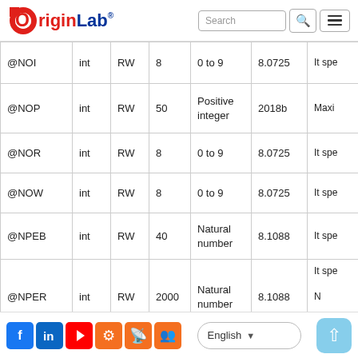OriginLab logo with Search bar and menu
|  | int | RW |  |  |  |  |
| --- | --- | --- | --- | --- | --- | --- |
| @NOI | int | RW | 8 | 0 to 9 | 8.0725 | It spe |
| @NOP | int | RW | 50 | Positive integer | 2018b | Maxi |
| @NOR | int | RW | 8 | 0 to 9 | 8.0725 | It spe |
| @NOW | int | RW | 8 | 0 to 9 | 8.0725 | It spe |
| @NPEB | int | RW | 40 | Natural number | 8.1088 | It spe |
| @NPER | int | RW | 2000 | Natural number | 8.1088 | It spe

N |
|  |  |  |  |  |  | It spe |
Social icons | English language selector | Up button